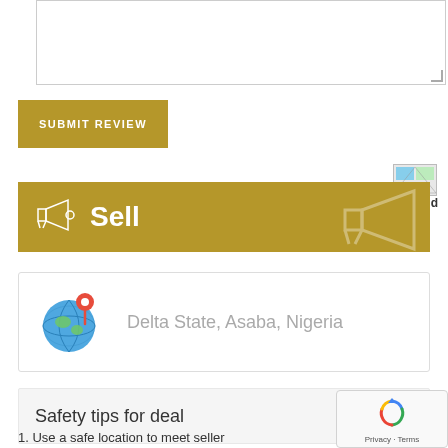[Figure (screenshot): Text area input box with resize handle]
[Figure (screenshot): Submit Review button in olive/gold color with uppercase white text]
[Figure (screenshot): Android badge image with Android label]
[Figure (screenshot): Sell banner with megaphone icon in gold/olive color with Sell text]
[Figure (screenshot): Location card showing globe with location pin icon and text Delta State, Asaba, Nigeria]
Safety tips for deal
1. Use a safe location to meet seller
[Figure (screenshot): reCAPTCHA widget with Privacy and Terms links]